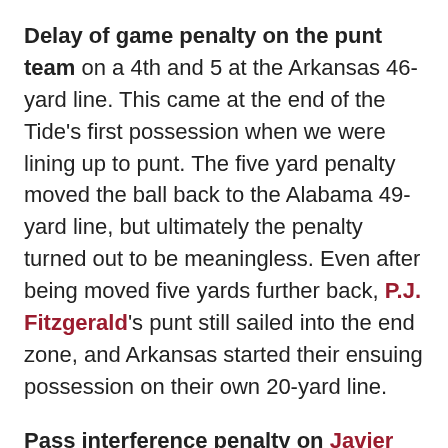Delay of game penalty on the punt team on a 4th and 5 at the Arkansas 46-yard line. This came at the end of the Tide's first possession when we were lining up to punt. The five yard penalty moved the ball back to the Alabama 49-yard line, but ultimately the penalty turned out to be meaningless. Even after being moved five yards further back, P.J. Fitzgerald's punt still sailed into the end zone, and Arkansas started their ensuing possession on their own 20-yard line.
Pass interference penalty on Javier Arenas on a 3rd and 7 for the Hogs late in the first quarter. This was an incomplete pass and would have forced an Arkansas punt from their own 10-yard line. Instead, it was a close call that went in the Hog's direction, and it gave them new life with a first down at the Arkansas 21. The Tide would beat them immediately thereafter but...